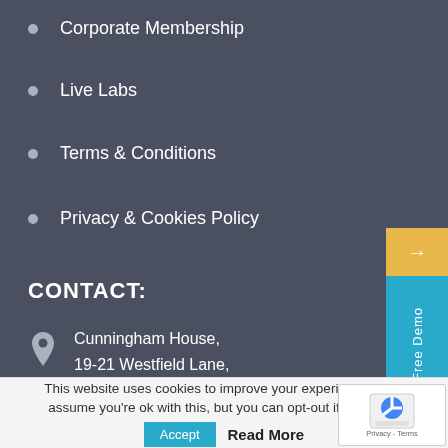Corporate Membership
Live Labs
Terms & Conditions
Privacy & Cookies Policy
CONTACT:
Cunningham House,
19-21 Westfield Lane,
Harrow, HA3 9ED,
UK
+44 (0) 203 602 9407
This website uses cookies to improve your experience. We'll assume you're ok with this, but you can opt-out if you wish.
Accept   Read More